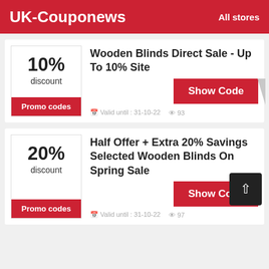UK-Couponews   All stores
10% discount
Promo codes
Wooden Blinds Direct Sale - Up To 10% Site
Show Code
Valid until : 31-10-22   93
20% discount
Promo codes
Half Offer + Extra 20% Savings Selected Wooden Blinds On Spring Sale
Show Code
Valid until : 31-10-22   97